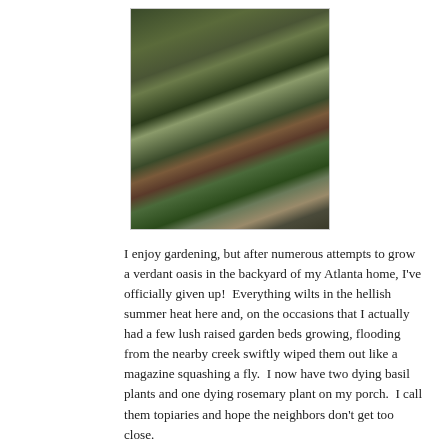[Figure (photo): Photograph of potted garden plants including herbs and foliage arranged on a dark surface, with a Buddha statue visible in the background.]
I enjoy gardening, but after numerous attempts to grow a verdant oasis in the backyard of my Atlanta home, I've officially given up!  Everything wilts in the hellish summer heat here and, on the occasions that I actually had a few lush raised garden beds growing, flooding from the nearby creek swiftly wiped them out like a magazine squashing a fly.  I now have two dying basil plants and one dying rosemary plant on my porch.  I call them topiaries and hope the neighbors don't get too close.